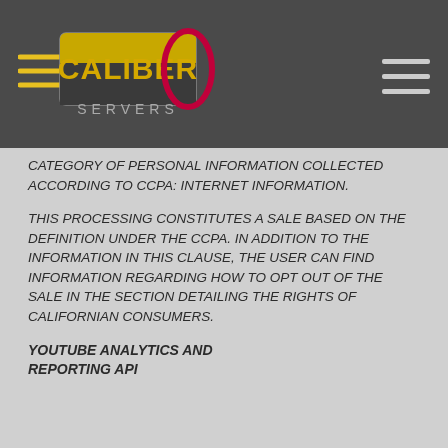[Figure (logo): Caliber Servers logo with speed lines and red oval accent, text 'CALIBER' in gold on dark background, 'SERVERS' below]
CATEGORY OF PERSONAL INFORMATION COLLECTED ACCORDING TO CCPA: INTERNET INFORMATION.
THIS PROCESSING CONSTITUTES A SALE BASED ON THE DEFINITION UNDER THE CCPA. IN ADDITION TO THE INFORMATION IN THIS CLAUSE, THE USER CAN FIND INFORMATION REGARDING HOW TO OPT OUT OF THE SALE IN THE SECTION DETAILING THE RIGHTS OF CALIFORNIAN CONSUMERS.
YOUTUBE ANALYTICS AND REPORTING API